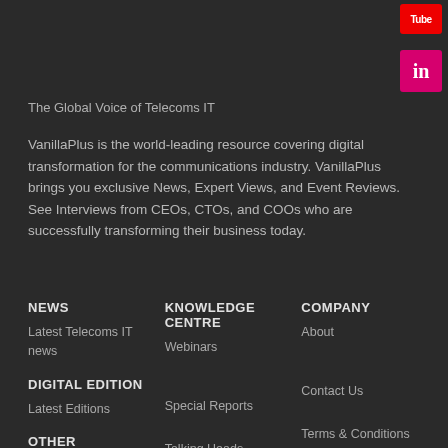[Figure (logo): YouTube icon - red rounded rectangle with white 'Tube' text]
[Figure (logo): LinkedIn icon - pink/magenta square with white 'in' text]
The Global Voice of Telecoms IT
VanillaPlus is the world-leading resource covering digital transformation for the communications industry. VanillaPlus brings you exclusive News, Expert Views, and Event Reviews. See Interviews from CEOs, CTOs, and COOs who are successfully transforming their business today.
NEWS
KNOWLEDGE CENTRE
COMPANY
Latest Telecoms IT news
Webinars
About
DIGITAL EDITION
Special Reports
Contact Us
Latest Editions
OTHER
Talking Heads
Terms & Conditions
Newsletters [Archive]
Editorial Advisory Board
Privacy Policy
PARTNERS
IoT News